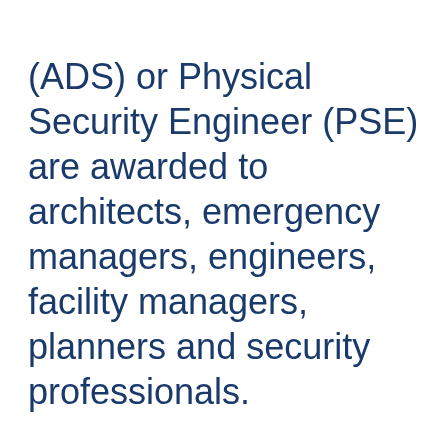(ADS) or Physical Security Engineer (PSE) are awarded to architects, emergency managers, engineers, facility managers, planners and security professionals.
In order to qualify for the Senior and Master levels of ADS or PSE designation the applicant must complete additional academic studies, have been published in a